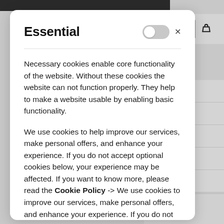[Figure (screenshot): Website background showing gray navigation area with search and cart icons on the right, and partially visible side menu items: 'tions', 'Refunds', 'onditions', 'licy', 'icy']
Essential
Necessary cookies enable core functionality of the website. Without these cookies the website can not function properly. They help to make a website usable by enabling basic functionality.
We use cookies to help improve our services, make personal offers, and enhance your experience. If you do not accept optional cookies below, your experience may be affected. If you want to know more, please read the Cookie Policy -> We use cookies to improve our services, make personal offers, and enhance your experience. If you do not